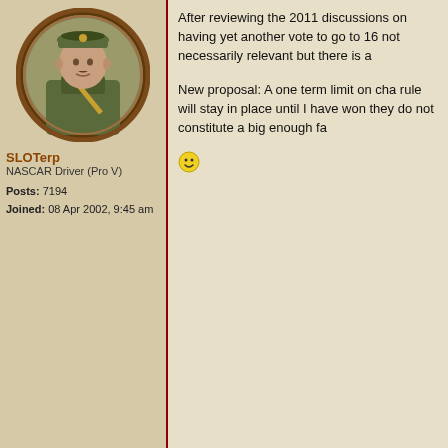[Figure (illustration): Forum user avatar: illustrated soldier in military uniform with cap and diagonal sash, oval portrait frame with dark brown border]
SLOTerp
NASCAR Driver (Pro V)
Posts: 7194
Joined: 08 Apr 2002, 9:45 am
After reviewing the 2011 discussions on having yet another vote to go to 16 not necessarily relevant but there is a

New proposal: A one term limit on cha rule will stay in place until I have won they do not constitute a big enough fa
[Figure (illustration): Forum user avatar: illustrated soldier in light grey uniform with cap, arms crossed, oval portrait frame with dark brown border]
Sharur
Dignitary
Posts: 967
Joined: 30 Aug 2003, 5:17 am
01 Oct 2011, 9:35 pm

If you want to win a championship, be

Tempting as it is to say yes to expans going to vote no. Not only do I think o our keeper salaries, but I also don't w be particularly worse off then anyone just don't think it's fair to any of us to h have them anyway

I will also note that I haven't really hea would offset the general disruption an be deeper, but it seems plenty deep a